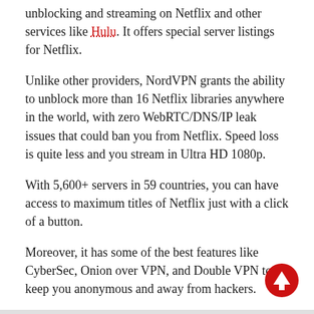unblocking and streaming on Netflix and other services like Hulu. It offers special server listings for Netflix.
Unlike other providers, NordVPN grants the ability to unblock more than 16 Netflix libraries anywhere in the world, with zero WebRTC/DNS/IP leak issues that could ban you from Netflix. Speed loss is quite less and you stream in Ultra HD 1080p.
With 5,600+ servers in 59 countries, you can have access to maximum titles of Netflix just with a click of a button.
Moreover, it has some of the best features like CyberSec, Onion over VPN, and Double VPN to keep you anonymous and away from hackers.
[Figure (other): Red circular back-to-top button with white upward arrow icon]